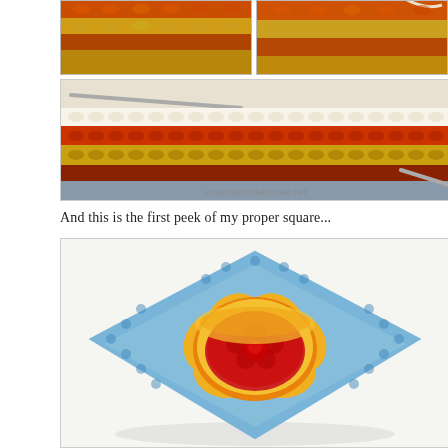[Figure (photo): Two side-by-side close-up photos of colorful crochet work in red, yellow/mustard, and other colors, showing stitches in progress]
[Figure (photo): Wide close-up photo of a crochet project laid flat showing multiple rows of yarn in cream/white, red, mustard/yellow, and gray colors with a crochet hook visible. Watermark 'andersonmakesmuse.net' visible in corner.]
And this is the first peek of my proper square...
[Figure (photo): A crocheted granny square in blue/light blue with a 3D crocheted flower in yellow/orange and red sitting on top of it, photographed on a white surface.]